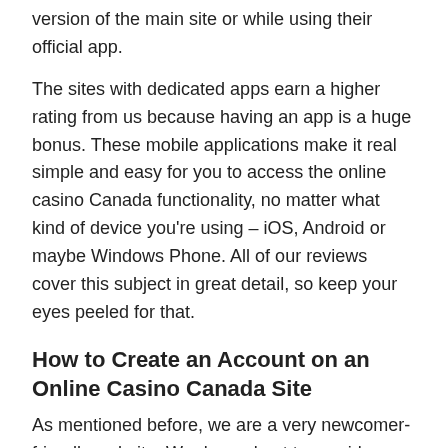version of the main site or while using their official app.
The sites with dedicated apps earn a higher rating from us because having an app is a huge bonus. These mobile applications make it real simple and easy for you to access the online casino Canada functionality, no matter what kind of device you're using – iOS, Android or maybe Windows Phone. All of our reviews cover this subject in great detail, so keep your eyes peeled for that.
How to Create an Account on an Online Casino Canada Site
As mentioned before, we are a very newcomer-friendly website. We do our best to provide you with the most up-to-date, most easy-to-digest information regarding online gambling. You will be able to access a huge informational database with more than enough info to catch you up to speed. One of the most frequent questions that we get from new players is how to set up an account. Let's discuss that!